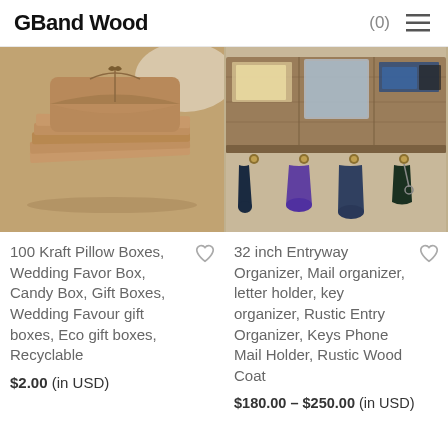GBandWood  (0) ☰
[Figure (photo): Stack of kraft pillow boxes on burlap fabric with lace in the background]
[Figure (photo): Rustic wood entryway organizer with mail slots, mirror, and coat hooks with backpacks hanging]
100 Kraft Pillow Boxes, Wedding Favor Box, Candy Box, Gift Boxes, Wedding Favour gift boxes, Eco gift boxes, Recyclable
$2.00 (in USD)
32 inch Entryway Organizer, Mail organizer, letter holder, key organizer, Rustic Entry Organizer, Keys Phone Mail Holder, Rustic Wood Coat
$180.00 – $250.00 (in USD)